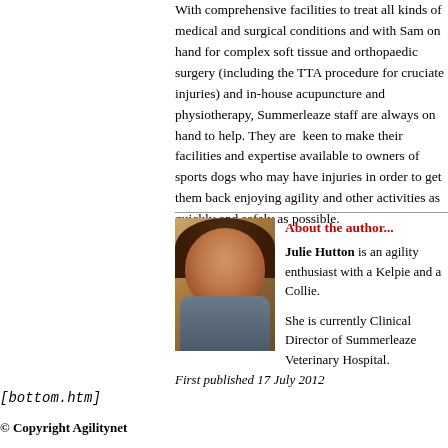With comprehensive facilities to treat all kinds of medical and surgical conditions and with Sam on hand for complex soft tissue and orthopaedic surgery (including the TTA procedure for cruciate injuries) and in-house acupuncture and physiotherapy, Summerleaze staff are always on hand to help. They are keen to make their facilities and expertise available to owners of sports dogs who may have injuries in order to get them back enjoying agility and other activities as quickly and safely as possible.
About the author... Julie Hutton is an agility enthusiast with a Kelpie and a Collie. She is currently Clinical Director of Summerleaze Veterinary Hospital.
[Figure (photo): Portrait photo of Julie Hutton, a woman with dark brown hair, smiling at the camera.]
First published 17 July 2012
[bottom.htm]
© Copyright Agilitynet